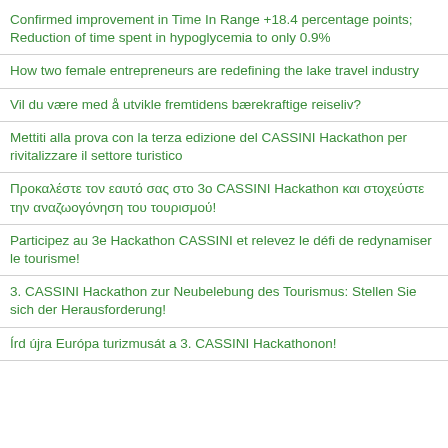Confirmed improvement in Time In Range +18.4 percentage points; Reduction of time spent in hypoglycemia to only 0.9%
How two female entrepreneurs are redefining the lake travel industry
Vil du være med å utvikle fremtidens bærekraftige reiseliv?
Mettiti alla prova con la terza edizione del CASSINI Hackathon per rivitalizzare il settore turistico
Προκαλέστε τον εαυτό σας στο 3ο CASSINI Hackathon και στοχεύστε την αναζωογόνηση του τουρισμού!
Participez au 3e Hackathon CASSINI et relevez le défi de redynamiser le tourisme!
3. CASSINI Hackathon zur Neubelebung des Tourismus: Stellen Sie sich der Herausforderung!
Írd újra Európa turizmusát a 3. CASSINI Hackathonon!